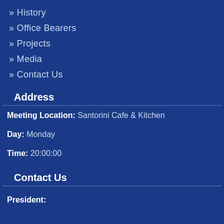» History
» Office Bearers
» Projects
» Media
» Contact Us
Address
Meeting Location: Santorini Cafe & Kitchen
Day: Monday
Time: 20:00:00
Contact Us
President: